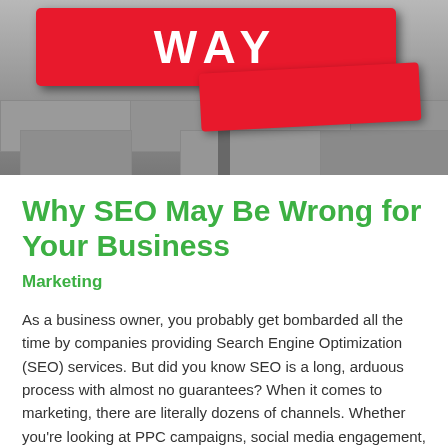[Figure (photo): A red 'ONE WAY' street sign against a stone/rock background, black and white photo with red sign highlighted]
Why SEO May Be Wrong for Your Business
Marketing
As a business owner, you probably get bombarded all the time by companies providing Search Engine Optimization (SEO) services. But did you know SEO is a long, arduous process with almost no guarantees? When it comes to marketing, there are literally dozens of channels. Whether you're looking at PPC campaigns, social media engagement, or offline …
Read More ...